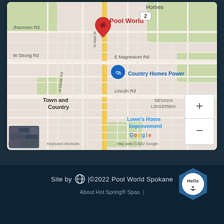[Figure (map): Google Maps showing Pool World location in Spokane, WA area, with surrounding streets including N Wall St, E Magnesium Rd, Lincoln Rd, and nearby landmarks Country Homes Power, Town and Country, Lowe's Home Improvement. Red pin marker labeled Pool World. Zoom controls visible. Map data ©2022 Google.]
Site by  | ©2022 Pool World Spokane
About Hot Spring® Spas |